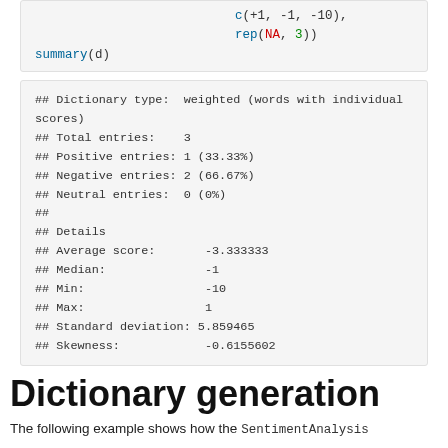c(+1, -1, -10),
    rep(NA, 3))
summary(d)
## Dictionary type:  weighted (words with individual scores)
## Total entries:    3
## Positive entries: 1 (33.33%)
## Negative entries: 2 (66.67%)
## Neutral entries:  0 (0%)
##
## Details
## Average score:       -3.333333
## Median:              -1
## Min:                 -10
## Max:                 1
## Standard deviation: 5.859465
## Skewness:            -0.6155602
Dictionary generation
The following example shows how the SentimentAnalysis